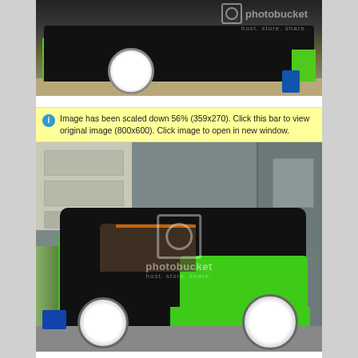[Figure (photo): Close-up photo of the front-left of a black and green modified car (hatchback) in a garage, with white aftermarket wheels, green body kit, and various tools/jack stands visible on the floor. Photobucket watermark overlay visible.]
Image has been scaled down 56% (359x270). Click this bar to view original image (800x600). Click image to open in new window.
[Figure (photo): Wide-angle photo of a black and lime-green modified hatchback race/show car parked inside a metal garage/shed. Car features roll cage visible through windows, green exterior panels, white multi-spoke wheels, and black bonnet. Photobucket watermark overlay visible.]